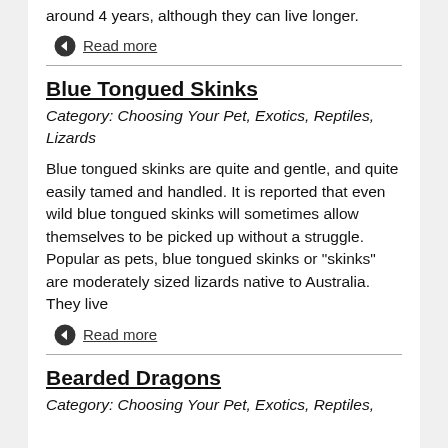around 4 years, although they can live longer.
Read more
Blue Tongued Skinks
Category: Choosing Your Pet, Exotics, Reptiles, Lizards
Blue tongued skinks are quite and gentle, and quite easily tamed and handled. It is reported that even wild blue tongued skinks will sometimes allow themselves to be picked up without a struggle. Popular as pets, blue tongued skinks or "skinks" are moderately sized lizards native to Australia. They live
Read more
Bearded Dragons
Category: Choosing Your Pet, Exotics, Reptiles,